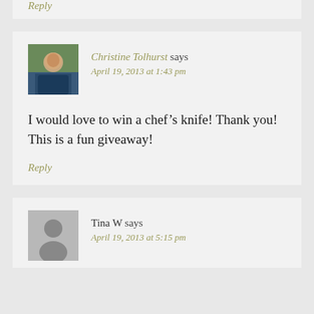Reply
Christine Tolhurst says
April 19, 2013 at 1:43 pm
I would love to win a chef's knife! Thank you! This is a fun giveaway!
Reply
Tina W says
April 19, 2013 at 5:15 pm